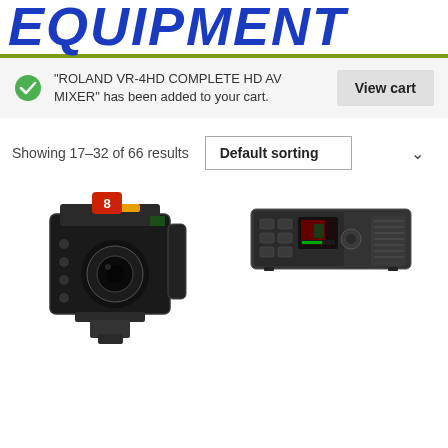EQUIPMENT
"ROLAND VR-4HD COMPLETE HD AV MIXER" has been added to your cart.
Showing 17–32 of 66 results
[Figure (photo): Blackmagic Studio Camera with red number 8 label]
[Figure (photo): Blackmagic Web Presenter HD encoder device]